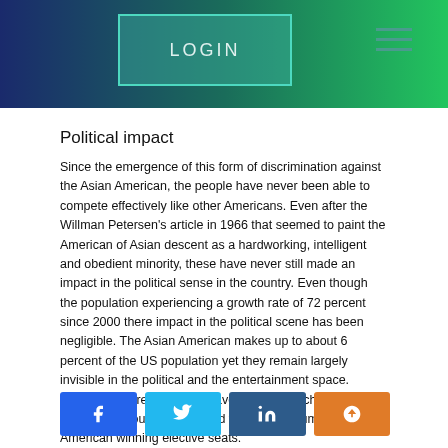LOGIN
Political impact
Since the emergence of this form of discrimination against the Asian American, the people have never been able to compete effectively like other Americans. Even after the Willman Petersen’s article in 1966 that seemed to paint the American of Asian descent as a hardworking, intelligent and obedient minority, these have never still made an impact in the political sense in the country. Even though the population experiencing a growth rate of 72 percent since 2000 there impact in the political scene has been negligible. The Asian American makes up to about 6 percent of the US population yet they remain largely invisible in the political and the entertainment space. However, the recent times have seen some changes since in 2017 the country witnessed the highest number of Asian American winning elective seats.
[Figure (infographic): Social share buttons: Facebook, Twitter, LinkedIn, Mix]